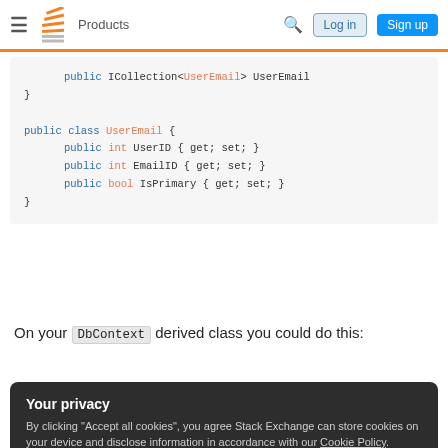Stack Overflow navigation: hamburger menu, logo, Products, search, Log in, Sign up
[Figure (screenshot): Code block showing C# class definition: public ICollection<UserEmail> UserEmail, closing brace, public class UserEmail with properties UserID, EmailID, IsPrimary]
On your DbContext derived class you could do this:
Your privacy
By clicking "Accept all cookies", you agree Stack Exchange can store cookies on your device and disclose information in accordance with our Cookie Policy.
Accept all cookies    Customize settings
[Figure (screenshot): Partially visible code snippet showing q.UserID, q.EmailID]